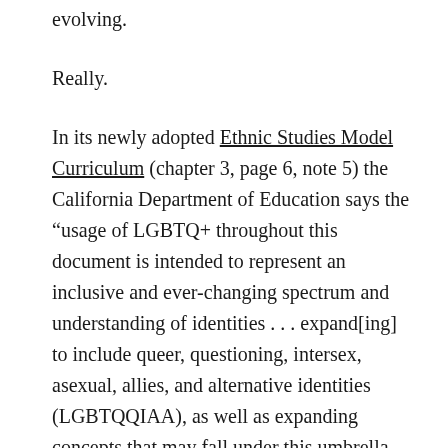evolving.
Really.
In its newly adopted Ethnic Studies Model Curriculum (chapter 3, page 6, note 5) the California Department of Education says the “usage of LGBTQ+ throughout this document is intended to represent an inclusive and ever-changing spectrum and understanding of identities . . . expand[ing] to include queer, questioning, intersex, asexual, allies, and alternative identities (LGBTQQIAA), as well as expanding concepts that may fall under this umbrella term in the future.”